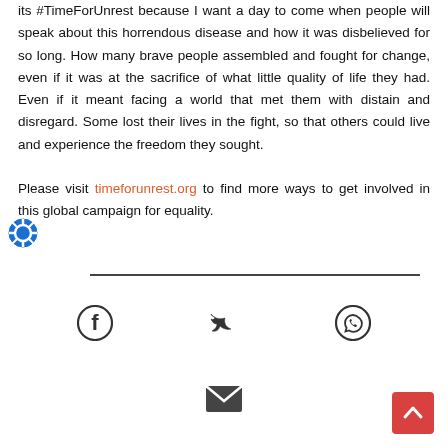its #TimeForUnrest because I want a day to come when people will speak about this horrendous disease and how it was disbelieved for so long. How many brave people assembled and fought for change, even if it was at the sacrifice of what little quality of life they had. Even if it meant facing a world that met them with distain and disregard. Some lost their lives in the fight, so that others could live and experience the freedom they sought.

Please visit timeforunrest.org to find more ways to get involved in this global campaign for equality.
[Figure (illustration): Blue circular help/lifesaver icon]
[Figure (illustration): Horizontal divider line]
[Figure (illustration): Facebook, Twitter, WhatsApp social share icons in a row]
[Figure (illustration): Email/envelope icon]
[Figure (illustration): Red scroll-to-top button with upward chevron]